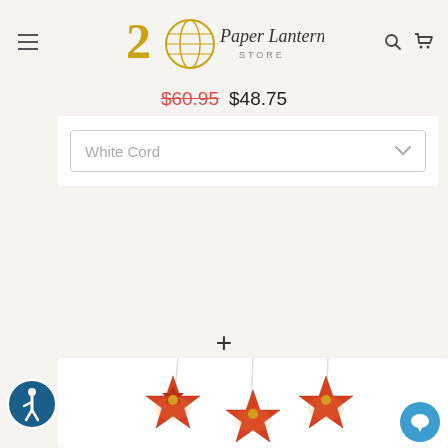Paper Lantern Store (20th anniversary logo)
$60.95 $48.75
White Cord
+
[Figure (photo): Three red decorative paper star lanterns hanging by white cords, with golden floral pattern, displayed against a white background]